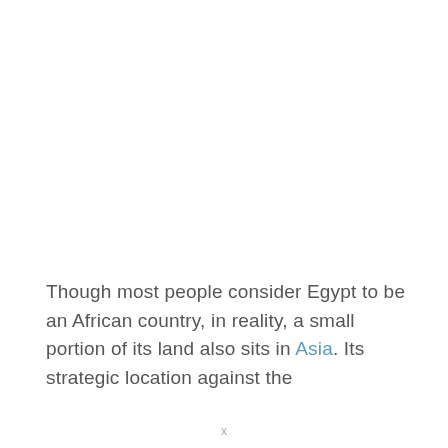Though most people consider Egypt to be an African country, in reality, a small portion of its land also sits in Asia. Its strategic location against the
x